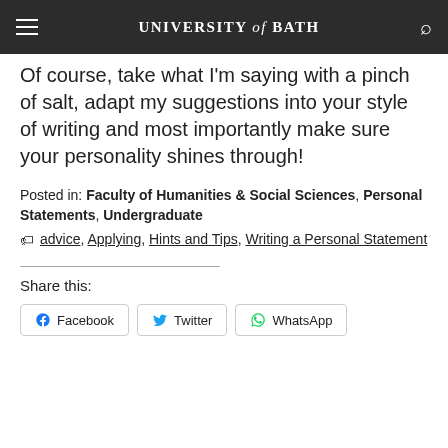UNIVERSITY of BATH
Of course, take what I'm saying with a pinch of salt, adapt my suggestions into your style of writing and most importantly make sure your personality shines through!
Posted in: Faculty of Humanities & Social Sciences, Personal Statements, Undergraduate
advice, Applying, Hints and Tips, Writing a Personal Statement
Share this:
Facebook  Twitter  WhatsApp